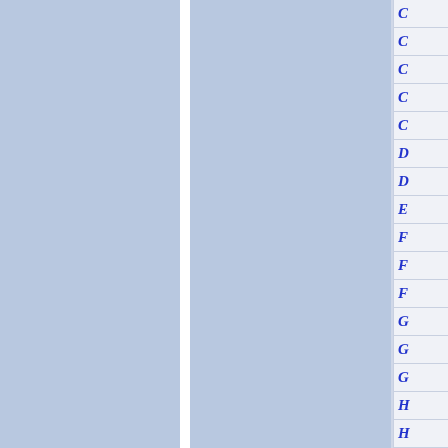[Figure (other): Navigation index sidebar showing alphabetical letter tabs (C, C, C, C, C, D, D, E, F, F, F, G, G, G, H, H) on the right side, with two light blue panel columns separated by a white divider on the left portion of the page.]